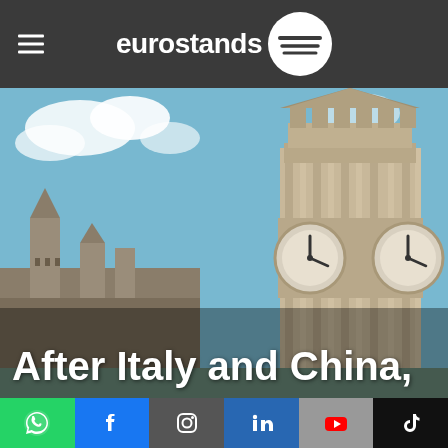eurostands
[Figure (photo): Photo of Big Ben clock tower in London against a blue sky with clouds]
After Italy and China,
[Figure (infographic): Social media icons bar: WhatsApp (green), Facebook (blue), Instagram, LinkedIn (blue), YouTube (grey), TikTok (black)]